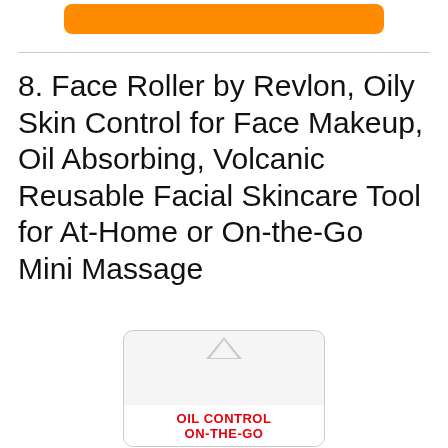[Figure (other): Orange button at top of page, partially visible]
8. Face Roller by Revlon, Oily Skin Control for Face Makeup, Oil Absorbing, Volcanic Reusable Facial Skincare Tool for At-Home or On-the-Go Mini Massage
[Figure (photo): Product packaging for Revlon Oil Control On-The-Go face roller, shown in clear plastic blister pack with red text reading OIL CONTROL ON-THE-GO]